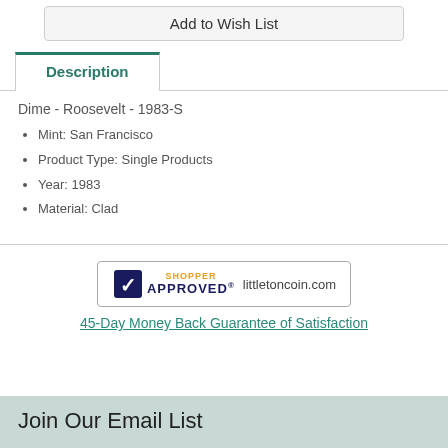Add to Wish List
Description
Dime - Roosevelt - 1983-S
Mint: San Francisco
Product Type: Single Products
Year: 1983
Material: Clad
[Figure (logo): Shopper Approved badge with text 'littletoncoin.com']
45-Day Money Back Guarantee of Satisfaction
Join Our Email List